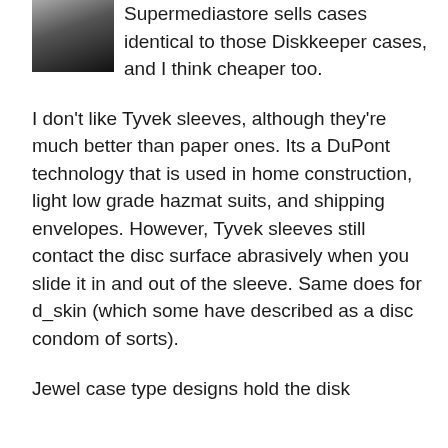[Figure (photo): Small thumbnail photo showing a dark blurred object with gradient from grey to black]
Supermediastore sells cases identical to those Diskkeeper cases, and I think cheaper too.
I don't like Tyvek sleeves, although they're much better than paper ones. Its a DuPont technology that is used in home construction, light low grade hazmat suits, and shipping envelopes. However, Tyvek sleeves still contact the disc surface abrasively when you slide it in and out of the sleeve. Same does for d_skin (which some have described as a disc condom of sorts).
Jewel case type designs hold the disk